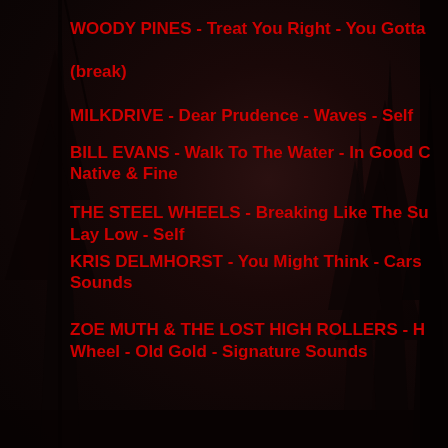WOODY PINES - Treat You Right - You Gotta
(break)
MILKDRIVE - Dear Prudence - Waves - Self
BILL EVANS - Walk To The Water - In Good C Native & Fine
THE STEEL WHEELS - Breaking Like The Su Lay Low - Self
KRIS DELMHORST - You Might Think - Cars Sounds
ZOE MUTH & THE LOST HIGH ROLLERS - H Wheel - Old Gold - Signature Sounds